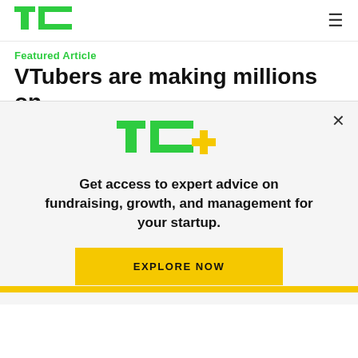TechCrunch logo and navigation
Featured Article
VTubers are making millions on
[Figure (logo): TC+ logo with TechCrunch green TC letters and yellow plus sign]
Get access to expert advice on fundraising, growth, and management for your startup.
EXPLORE NOW